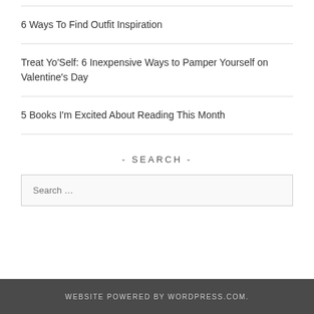6 Ways To Find Outfit Inspiration
Treat Yo'Self: 6 Inexpensive Ways to Pamper Yourself on Valentine's Day
5 Books I'm Excited About Reading This Month
- SEARCH -
Search …
WEBSITE POWERED BY WORDPRESS.COM.